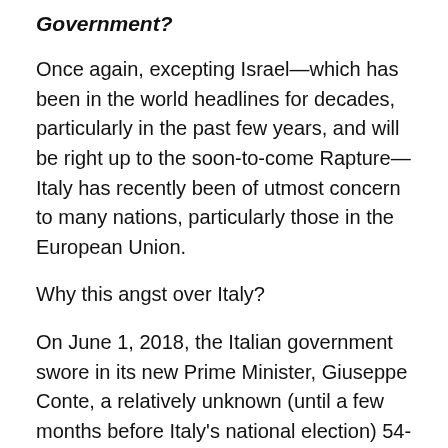Government?
Once again, excepting Israel—which has been in the world headlines for decades, particularly in the past few years, and will be right up to the soon-to-come Rapture—Italy has recently been of utmost concern to many nations, particularly those in the European Union.
Why this angst over Italy?
On June 1, 2018, the Italian government swore in its new Prime Minister, Giuseppe Conte, a relatively unknown (until a few months before Italy's national election) 54-year old law-professor who had no political experience at any level of government. You might think: How is that possible?
For the same reason that Donald Trump—with no political